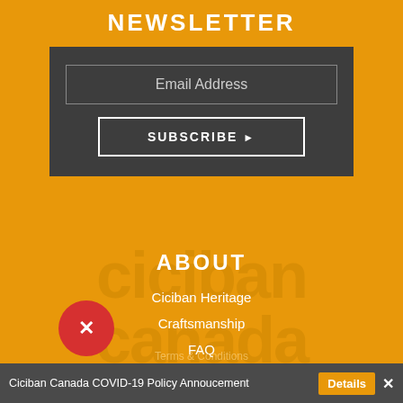NEWSLETTER
Email Address
SUBSCRIBE ▶
[Figure (other): Watermark text reading 'ciciban canada' in large orange letters on orange background]
ABOUT
Ciciban Heritage
Craftsmanship
FAQ
POLICIES
Privacy
[Figure (other): Red circular close button with white X]
Ciciban Canada COVID-19 Policy Annoucement  Details  ×
Terms & Conditions